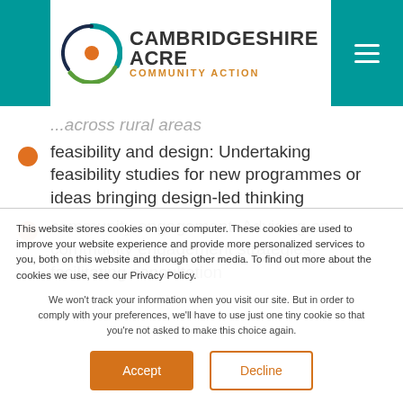Cambridgeshire ACRE Community Action
across rural areas feasibility and design: Undertaking feasibility studies for new programmes or ideas bringing design-led thinking
community engagement: Advising on community engagement strategies, facilitating consultation
This website stores cookies on your computer. These cookies are used to improve your website experience and provide more personalized services to you, both on this website and through other media. To find out more about the cookies we use, see our Privacy Policy.
We won't track your information when you visit our site. But in order to comply with your preferences, we'll have to use just one tiny cookie so that you're not asked to make this choice again.